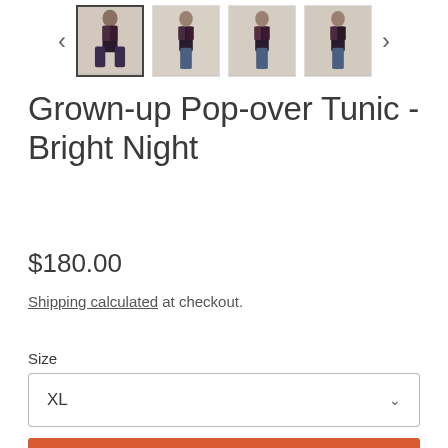[Figure (photo): Product thumbnail strip showing four views of the Grown-up Pop-over Tunic in Bright Night pattern, with navigation arrows on each side. First thumbnail is selected/highlighted.]
Grown-up Pop-over Tunic - Bright Night
$180.00
Shipping calculated at checkout.
Size
XL
ADD TO CART
This silky soft tunic is the most comfortable things you'll